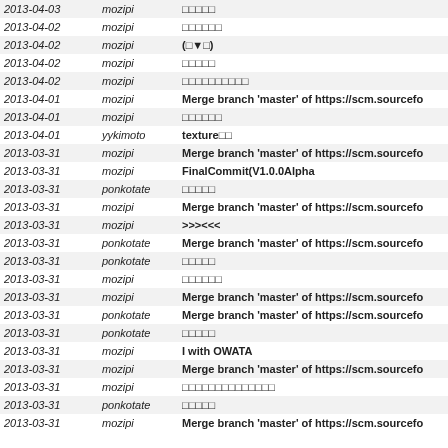| date | author | message |
| --- | --- | --- |
| 2013-04-03 | mozipi | □□□□□ |
| 2013-04-02 | mozipi | □□□□□□ |
| 2013-04-02 | mozipi | (□▼□) |
| 2013-04-02 | mozipi | □□□□□ |
| 2013-04-02 | mozipi | □□□□□□□□□□ |
| 2013-04-01 | mozipi | Merge branch 'master' of https://scm.sourcefo |
| 2013-04-01 | mozipi | □□□□□□ |
| 2013-04-01 | yykimoto | texture□□ |
| 2013-03-31 | mozipi | Merge branch 'master' of https://scm.sourcefo |
| 2013-03-31 | mozipi | FinalCommit(V1.0.0Alpha |
| 2013-03-31 | ponkotate | □□□□□ |
| 2013-03-31 | mozipi | Merge branch 'master' of https://scm.sourcefo |
| 2013-03-31 | mozipi | >>><<< |
| 2013-03-31 | ponkotate | Merge branch 'master' of https://scm.sourcefo |
| 2013-03-31 | ponkotate | □□□□□ |
| 2013-03-31 | mozipi | □□□□□□ |
| 2013-03-31 | mozipi | Merge branch 'master' of https://scm.sourcefo |
| 2013-03-31 | ponkotate | Merge branch 'master' of https://scm.sourcefo |
| 2013-03-31 | ponkotate | □□□□□ |
| 2013-03-31 | mozipi | I with OWATA |
| 2013-03-31 | mozipi | Merge branch 'master' of https://scm.sourcefo |
| 2013-03-31 | mozipi | □□□□□□□□□□□□□□ |
| 2013-03-31 | ponkotate | □□□□□ |
| 2013-03-31 | mozipi | Merge branch 'master' of https://scm.sourcefo |